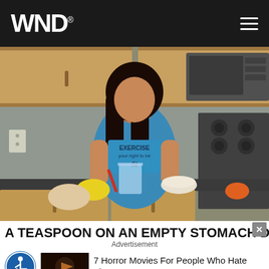WND
[Figure (photo): Woman in blue exercise tank top standing in a kitchen, holding a red spoon over a glass of water, with food items on the counter including a lemon. Kitchen has wooden cabinets, stainless steel microwave and range.]
A TEASPOON ON AN EMPTY STOMACH DROPS BO
Advertisement
7 Horror Movies For People Who Hate Them